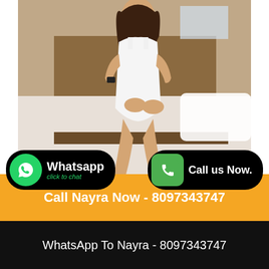[Figure (photo): Young woman in white dress sitting on edge of bed in hotel room, wearing grey flats and a watch]
Whatsapp click to chat
Call us Now.
Call Nayra Now - 8097343747
WhatsApp To Nayra - 8097343747